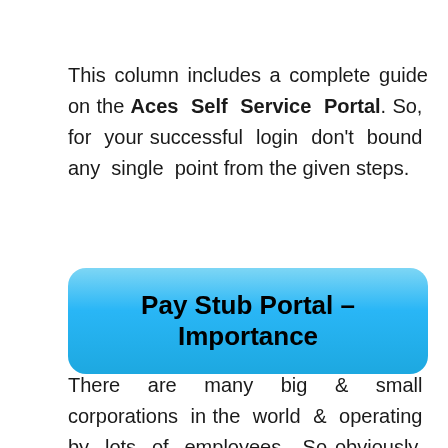This column includes a complete guide on the Aces Self Service Portal. So, for your successful login don't bound any single point from the given steps.
Pay Stub Portal – Importance
There are many big & small corporations in the world & operating by lots of employees. So obviously, for the HR department, it is not an easy task to manage each & every employee's records manually as well as paying salary